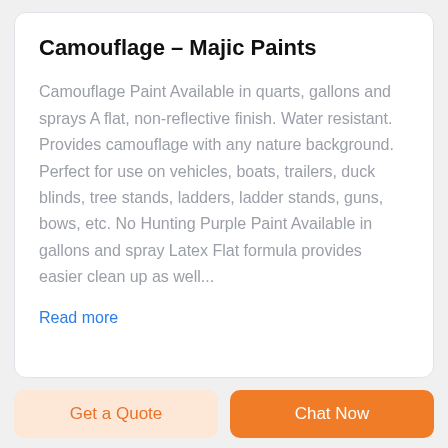Camouflage – Majic Paints
Camouflage Paint Available in quarts, gallons and sprays A flat, non-reflective finish. Water resistant. Provides camouflage with any nature background. Perfect for use on vehicles, boats, trailers, duck blinds, tree stands, ladders, ladder stands, guns, bows, etc. No Hunting Purple Paint Available in gallons and spray Latex Flat formula provides easier clean up as well...
Read more
Get a Quote
Chat Now